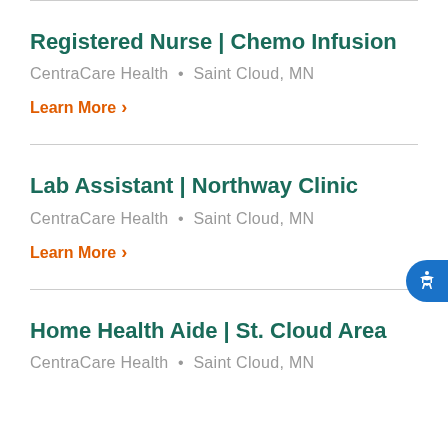Registered Nurse | Chemo Infusion
CentraCare Health · Saint Cloud, MN
Learn More ›
Lab Assistant | Northway Clinic
CentraCare Health · Saint Cloud, MN
Learn More ›
Home Health Aide | St. Cloud Area
CentraCare Health · Saint Cloud, MN